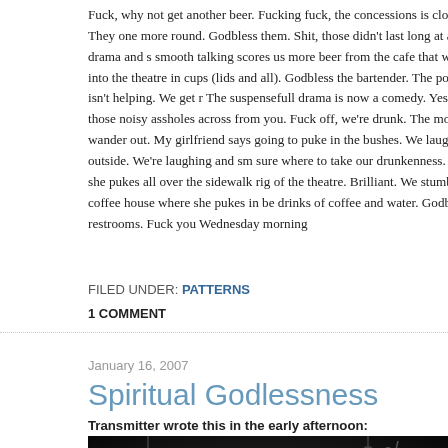Fuck, why not get another beer. Fucking fuck, the concessions is closed. Wait. They one more round. Godbless them. Shit, those didn't last long at all. A little drama and s smooth talking scores us more beer from the cafe that we smuggle into the theatre in cups (lids and all). Godbless the bartender. The popcorn really isn't helping. We get r The suspensefull drama is now a comedy. Yes, we were those noisy assholes across from you. Fuck off, we're drunk. The movie's over. We wander out. My girlfriend says going to puke in the bushes. We laugh at her. We go outside. We're laughing and sm sure where to take our drunkenness. Midsentence she pukes all over the sidewalk rig of the theatre. Brilliant. We stumble down to the coffee house where she pukes in be drinks of coffee and water. Godbless public restrooms. Fuck you Wednesday morning
FILED UNDER: PATTERNS
1 COMMENT
January 16, 2007
Spiritual Godlessness
Transmitter wrote this in the early afternoon:
[Figure (photo): Dark indoor photo showing a person with dark hair in low-light setting with microphone stands visible in the background]